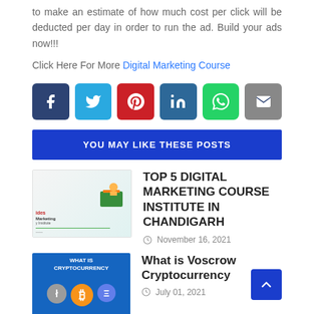to make an estimate of how much cost per click will be deducted per day in order to run the ad. Build your ads now!!!
Click Here For More Digital Marketing Course
[Figure (infographic): Social sharing buttons: Facebook, Twitter, Pinterest, LinkedIn, WhatsApp, Email]
YOU MAY LIKE THESE POSTS
[Figure (photo): Thumbnail image for digital marketing course in Chandigarh post]
TOP 5 DIGITAL MARKETING COURSE INSTITUTE IN CHANDIGARH
November 16, 2021
[Figure (photo): Thumbnail image showing cryptocurrency coins with What is Cryptocurrency text]
What is Voscrow Cryptocurrency
July 01, 2021
[Figure (photo): Thumbnail image for another post (partially visible)]